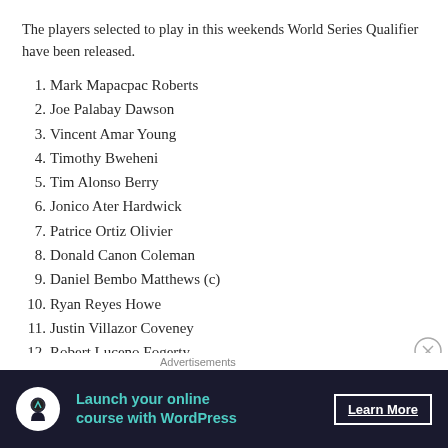The players selected to play in this weekends World Series Qualifier have been released.
1. Mark Mapacpac Roberts
2. Joe Palabay Dawson
3. Vincent Amar Young
4. Timothy Bweheni
5. Tim Alonso Berry
6. Jonico Ater Hardwick
7. Patrice Ortiz Olivier
8. Donald Canon Coleman
9. Daniel Bembo Matthews (c)
10. Ryan Reyes Howe
11. Justin Villazor Coveney
12. Robert Luceno Fogerty
• Head Coach: Frano Botica
• Assistant Coach: David Johnston